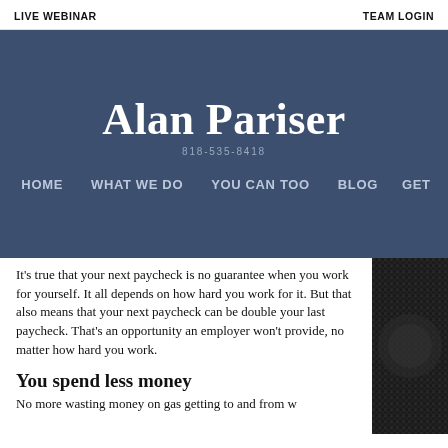LIVE WEBINAR | TEAM LOGIN
Alan Pariser
818-535-8418
HOME   WHAT WE DO   YOU CAN TOO   BLOG   GET
It's true that your next paycheck is no guarantee when you work for yourself. It all depends on how hard you work for it. But that also means that your next paycheck can be double your last paycheck. That's an opportunity an employer won't provide, no matter how hard you work.
You spend less money
No more wasting money on gas getting to and from w
[Figure (photo): Black and white close-up photo, appears to be coins or metallic texture]